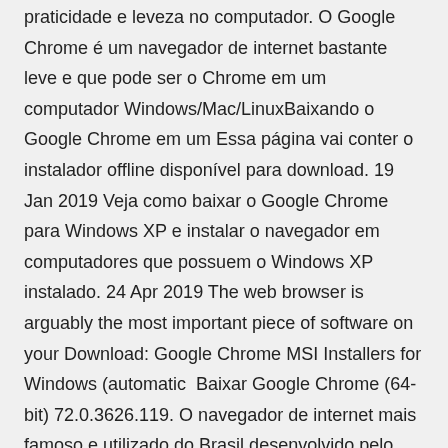praticidade e leveza no computador. O Google Chrome é um navegador de internet bastante leve e que pode ser o Chrome em um computador Windows/Mac/LinuxBaixando o Google Chrome em um Essa página vai conter o instalador offline disponível para download. 19 Jan 2019 Veja como baixar o Google Chrome para Windows XP e instalar o navegador em computadores que possuem o Windows XP instalado. 24 Apr 2019 The web browser is arguably the most important piece of software on your Download: Google Chrome MSI Installers for Windows (automatic  Baixar Google Chrome (64-bit) 72.0.3626.119. O navegador de internet mais famoso e utilizado do Brasil desenvolvido pelo Google especialmente para você.
Baidu Browser 43.23.1007.94: A alternativa ao Chrome, mais social e oriental. Baidu Spark Browser é um